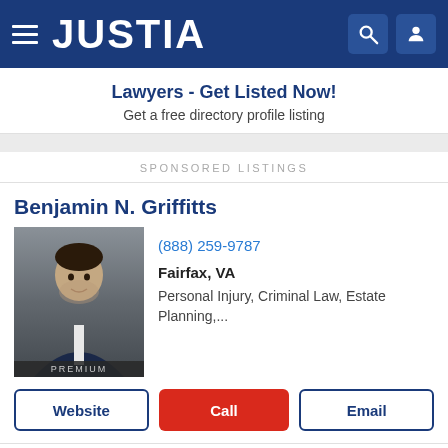[Figure (logo): Justia website header with hamburger menu, JUSTIA logo in white on dark blue background, search and user icons]
Lawyers - Get Listed Now!
Get a free directory profile listing
SPONSORED LISTINGS
Benjamin N. Griffitts
[Figure (photo): Professional headshot of attorney Benjamin N. Griffitts in suit with PREMIUM badge]
(888) 259-9787
Fairfax, VA
Personal Injury, Criminal Law, Estate Planning,...
Website
Call
Email
Benjamin Boscolo